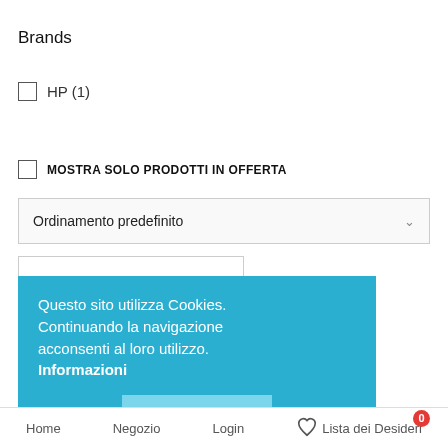Brands
HP (1)
MOSTRA SOLO PRODOTTI IN OFFERTA
Ordinamento predefinito
Questo sito utilizza Cookies. Continuando la navigazione acconsenti al loro utilizzo. Informazioni
Accetto
Home   Negozio   Login   Lista dei Desideri